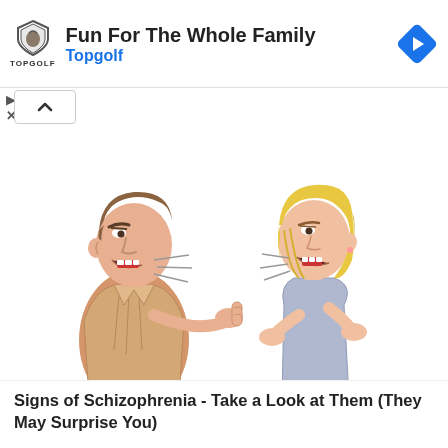[Figure (other): Topgolf advertisement banner with shield logo, 'Fun For The Whole Family' headline, 'Topgolf' subtitle in blue, and blue diamond arrow icon on the right]
[Figure (illustration): Cartoon illustration of a man with brown hair yelling at a woman with blonde hair who yells back, both with open mouths and pointing gestures, depicting conflict or argument]
Signs of Schizophrenia - Take a Look at Them (They May Surprise You)